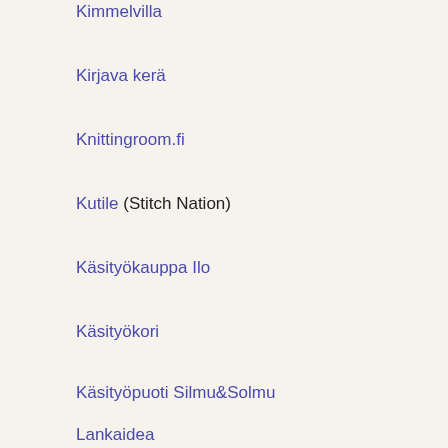Kimmelvilla
Kirjava kerä
Knittingroom.fi
Kutile (Stitch Nation)
Käsityökauppa Ilo
Käsityökori
Käsityöpuoti Silmu&Solmu
Lankaidea